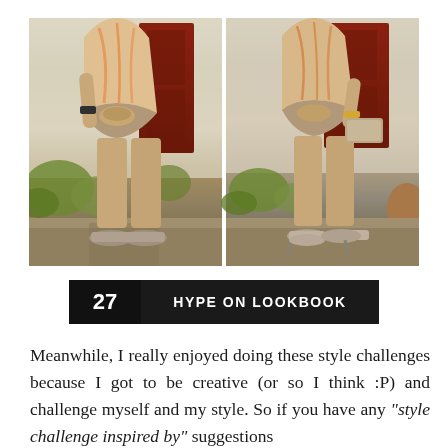[Figure (photo): Two side-by-side photos of a woman wearing a tied peach/orange patterned top and shorts, shown from waist down. Left photo shows flat shoes, right photo shows high heels and holding a clutch bag. Background has a red door and green plants.]
27   HYPE on LOOKBOOK
Meanwhile, I really enjoyed doing these style challenges because I got to be creative (or so I think :P) and challenge myself and my style. So if you have any "style challenge inspired by" suggestions